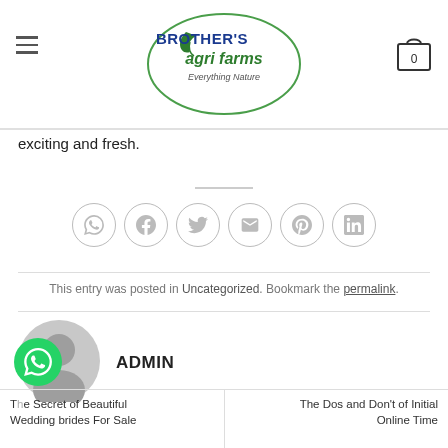[Figure (logo): Brother's Agri Farms logo with green oval border, leaf icon, and tagline 'Everything Nature']
exciting and fresh.
[Figure (infographic): Row of 6 social sharing icons in circles: WhatsApp, Facebook, Twitter, Email, Pinterest, LinkedIn]
This entry was posted in Uncategorized. Bookmark the permalink.
[Figure (illustration): Grey default user avatar silhouette in a circle]
ADMIN
The Secret of Beautiful Wedding brides For Sale
The Dos and Don't of Initial Online Time